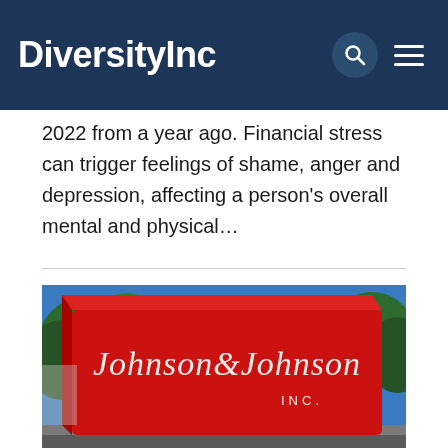DiversityInc
2022 from a year ago. Financial stress can trigger feelings of shame, anger and depression, affecting a person's overall mental and physical…
[Figure (photo): Johnson & Johnson INC. red corporate sign/monument with trees and blue sky in the background]